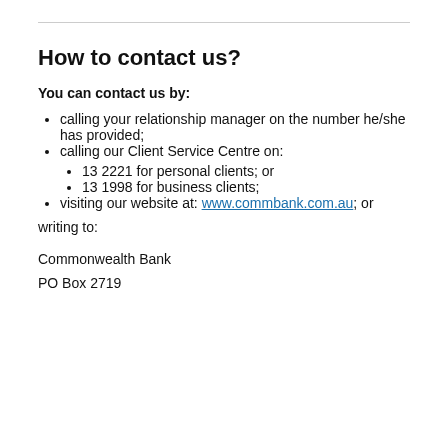How to contact us?
You can contact us by:
calling your relationship manager on the number he/she has provided;
calling our Client Service Centre on:
13 2221 for personal clients; or
13 1998 for business clients;
visiting our website at: www.commbank.com.au; or
writing to:
Commonwealth Bank
PO Box 2719